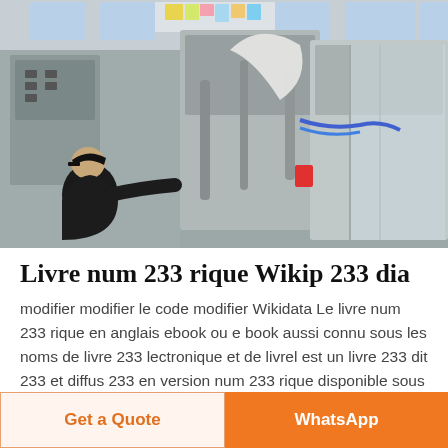[Figure (photo): Industrial manufacturing facility interior showing a worker in dark clothing and cap operating or inspecting stainless steel packaging/processing machinery. Bright windows visible in background.]
Livre num 233 rique Wikip 233 dia
modifier modifier le code modifier Wikidata Le livre num 233 rique en anglais ebook ou e book aussi connu sous les noms de livre 233 lectronique et de livrel est un livre 233 dit 233 et diffus 233 en version num 233 rique disponible sous la forme de fichiers
Get a Quote   WhatsApp